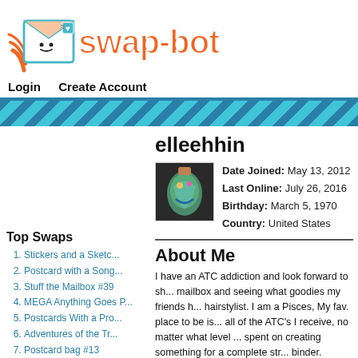[Figure (logo): Swap-bot logo: envelope mascot with smile and blue heart stamp, orange 'swap-bot' text]
Login   Create Account
elleehhin
[Figure (photo): Profile photo: tattoo image on hand/finger, colorful mermaid or similar tattoo]
Date Joined: May 13, 2012
Last Online: July 26, 2016
Birthday: March 5, 1970
Country: United States
Top Swaps
Stickers and a Sketc...
Postcard with a Song...
Stuff the Mailbox #39
MEGA Anything Goes P...
Postcards With a Pro...
Adventures of the Tr...
Postcard bag #13
Round Robin Travelin...
3 Things In An Envel...
Postcards About Me - M
About Me
I have an ATC addiction and look forward to sh... mailbox and seeing what goodies my friends h... hairstylist. I am a Pisces, My fav. place to be is... all of the ATC's I receive, no matter what level ... spent on creating something for a complete str... binder. Thanks to all of you! ** I have some OL... bad accident a long time ago and was unable t... notice before then and long since I have gotte...